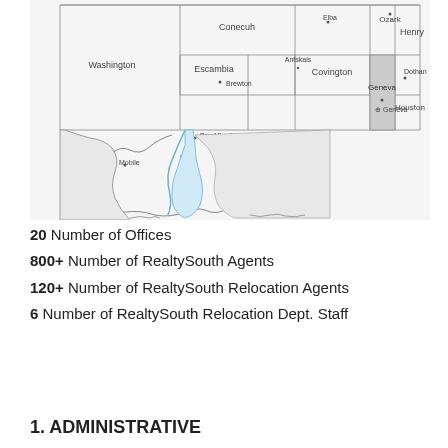[Figure (map): Map of southern Alabama counties including Washington, Mobile, Baldwin, Conecuh, Escambia, Covington, Antskals, Elba, Geneva, Ozark, Henry, Dothan, Houston showing county boundaries and city labels with a coastline detail along Mobile Bay area.]
20 Number of Offices
800+ Number of RealtySouth Agents
120+ Number of RealtySouth Relocation Agents
6 Number of RealtySouth Relocation Dept. Staff
1. ADMINISTRATIVE